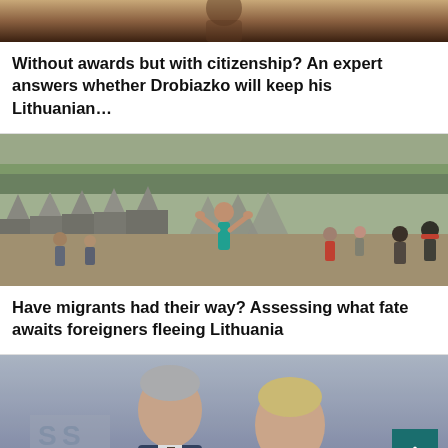[Figure (photo): Partial photo at top of page showing a woman at what appears to be a broadcast or event setting]
Without awards but with citizenship? An expert answers whether Drobiazko will keep his Lithuanian…
[Figure (photo): Refugee camp with rows of military tents and migrants gathered around, man in teal shirt with arms raised in foreground]
Have migrants had their way? Assessing what fate awaits foreigners fleeing Lithuania
[Figure (photo): Two politicians, an older man and a woman, photographed from below against a grey background]